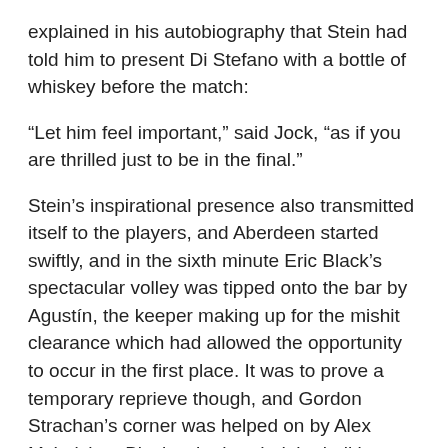explained in his autobiography that Stein had told him to present Di Stefano with a bottle of whiskey before the match:
“Let him feel important,” said Jock, “as if you are thrilled just to be in the final.”
Stein’s inspirational presence also transmitted itself to the players, and Aberdeen started swiftly, and in the sixth minute Eric Black’s spectacular volley was tipped onto the bar by Agustín, the keeper making up for the mishit clearance which had allowed the opportunity to occur in the first place. It was to prove a temporary reprieve though, and Gordon Strachan’s corner was helped on by Alex McLeish to Black, who headed the ball in to give Aberdeen the lead
Their advantage would only last eight minutes, although the equaliser came about in fortuitous